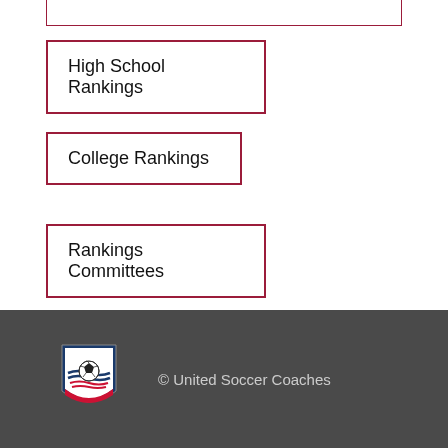High School Rankings
College Rankings
Rankings Committees
[Figure (logo): United Soccer Coaches shield logo with soccer ball and stripes]
© United Soccer Coaches